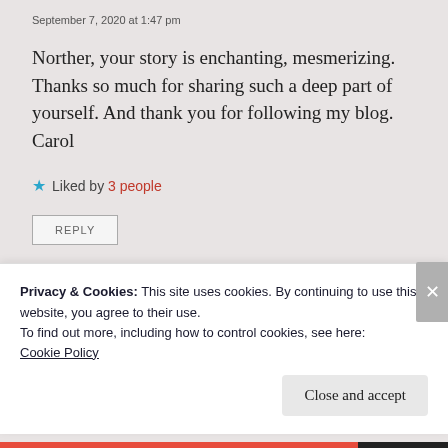September 7, 2020 at 1:47 pm
Norther, your story is enchanting, mesmerizing. Thanks so much for sharing such a deep part of yourself. And thank you for following my blog. Carol
★ Liked by 3 people
REPLY
Privacy & Cookies: This site uses cookies. By continuing to use this website, you agree to their use.
To find out more, including how to control cookies, see here:
Cookie Policy
Close and accept